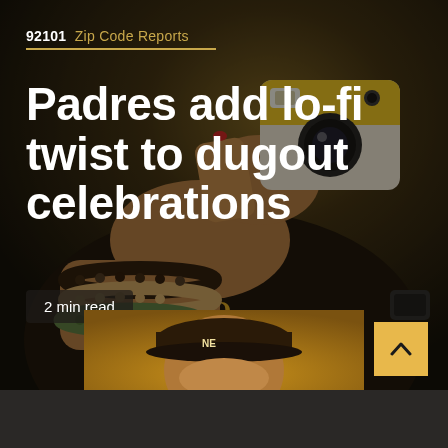92101  Zip Code Reports
Padres add lo-fi twist to dugout celebrations
2 min read
[Figure (photo): Person in San Diego Padres black and yellow jersey holding a yellow and white Polaroid-style instant camera up to their face. Multiple beaded bracelets visible on wrist.]
[Figure (photo): Person wearing a brown New Era baseball cap, partially visible at bottom of frame against a warm golden-brown background.]